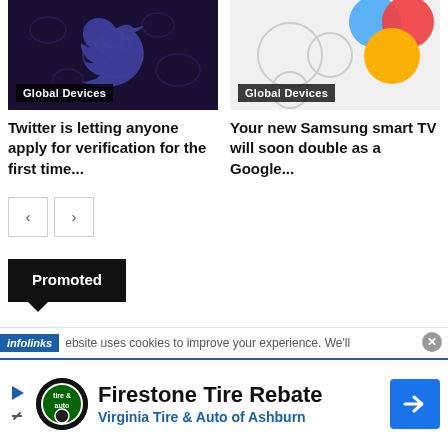[Figure (screenshot): Twitter/X dark themed thumbnail with bird icons and 'Global Devices' badge]
[Figure (screenshot): Colorful circles on light grey background with 'Global Devices' badge]
Twitter is letting anyone apply for verification for the first time...
Your new Samsung smart TV will soon double as a Google...
[Figure (other): Navigation prev/next arrow buttons]
Promoted
infolinks  ebsite uses cookies to improve your experience. We'll
[Figure (other): Firestone Tire Rebate advertisement with Virginia Tire & Auto of Ashburn. Includes logo and directional arrow icon.]